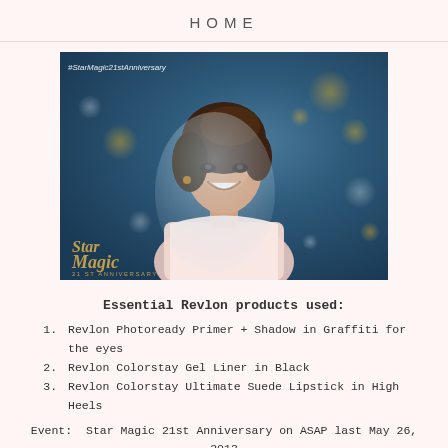HOME
[Figure (photo): A smiling woman in a white strapless dress at the Star Magic 21st Anniversary event. She has brown hair styled up. Text '#StarMagic21stAnniversary' is visible in the top left corner. The Star Magic logo in gold is visible at the bottom left.]
Essential Revlon products used:
Revlon Photoready Primer + Shadow in Graffiti for the eyes
Revlon Colorstay Gel Liner in Black
Revlon Colorstay Ultimate Suede Lipstick in High Heels
Event:  Star Magic 21st Anniversary on ASAP last May 26, 2013